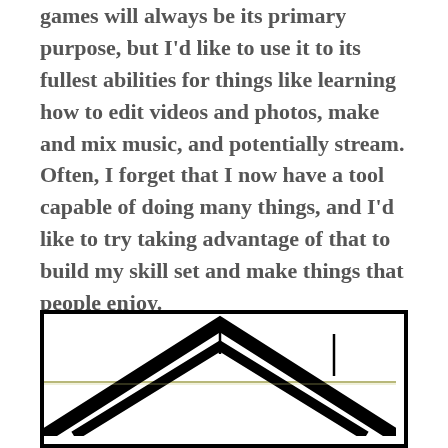games will always be its primary purpose, but I'd like to use it to its fullest abilities for things like learning how to edit videos and photos, make and mix music, and potentially stream. Often, I forget that I now have a tool capable of doing many things, and I'd like to try taking advantage of that to build my skill set and make things that people enjoy.
[Figure (illustration): A black and white illustration showing a geometric mountain or roof-like chevron shape with two vertical lines (poles or pillars) above it, and a horizontal line crossing the scene, suggesting a landscape or architectural motif.]